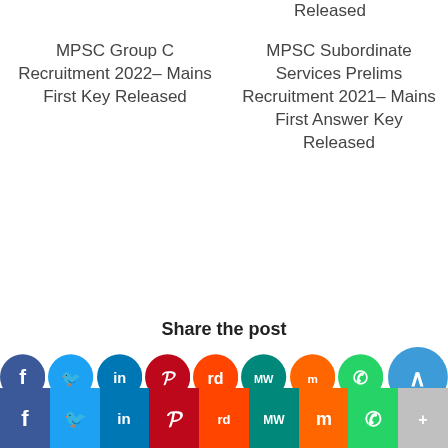Released
MPSC Group C Recruitment 2022– Mains First Key Released
MPSC Subordinate Services Prelims Recruitment 2021– Mains First Answer Key Released
Share the post
[Figure (infographic): Row of social media icon circles: Facebook, Twitter, LinkedIn, Pinterest, Reddit, MeWe, Mix, WhatsApp, and a large arrow-up/back-to-top circle button]
[Figure (infographic): Bottom bar with social media share buttons: Facebook, Twitter, LinkedIn, Pinterest, Reddit, MeWe, Mix, WhatsApp, More]